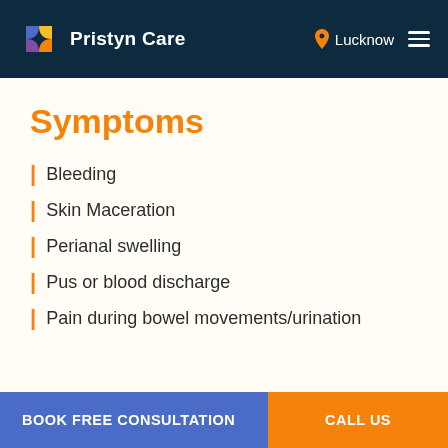Pristyn Care — Lucknow
Symptoms
Bleeding
Skin Maceration
Perianal swelling
Pus or blood discharge
Pain during bowel movements/urination
BOOK FREE CONSULTATION | CALL US